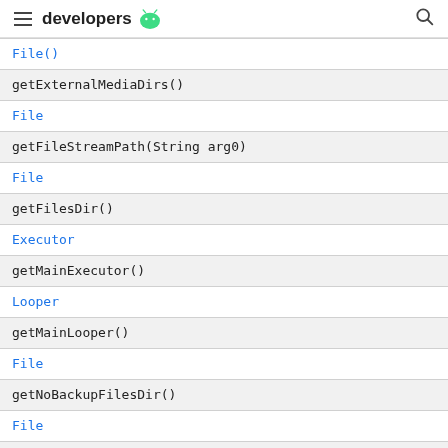developers [android logo]
| File() |
| getExternalMediaDirs() |
| File |
| getFileStreamPath(String arg0) |
| File |
| getFilesDir() |
| Executor |
| getMainExecutor() |
| Looper |
| getMainLooper() |
| File |
| getNoBackupFilesDir() |
| File |
| getObbDir() |